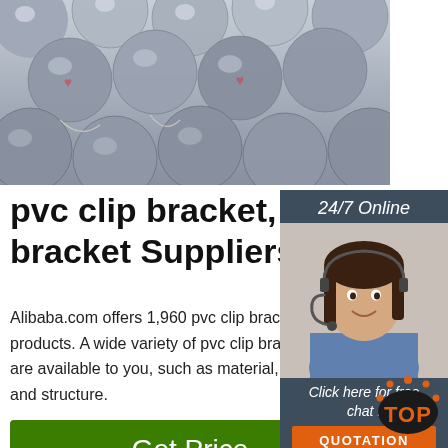[Figure (photo): Stack of metallic round rods/bars seen from the end, grey/silver colored]
pvc clip bracket, pvc clip bracket Suppliers and .
Alibaba.com offers 1,960 pvc clip bracket products. A wide variety of pvc clip bracket are available to you, such as material, w and structure.
[Figure (photo): Customer service representative, woman with headset smiling, with 24/7 Online label and Click here for free chat / QUOTATION button]
[Figure (photo): Factory interior with dark silhouette of industrial equipment]
[Figure (logo): TOP badge logo with orange dots surrounding orange TOP text]